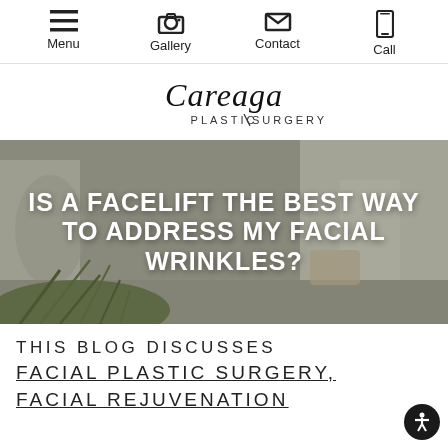Menu | Gallery | Contact | Call
[Figure (logo): Careaga Plastic Surgery logo in script font with PLASTIC SURGERY text below]
[Figure (photo): Hero image of a modern plastic surgery office/lobby with greenery in foreground, with white bold text overlay reading: IS A FACELIFT THE BEST WAY TO ADDRESS MY FACIAL WRINKLES?]
IS A FACELIFT THE BEST WAY TO ADDRESS MY FACIAL WRINKLES?
THIS BLOG DISCUSSES FACIAL PLASTIC SURGERY, FACIAL REJUVENATION